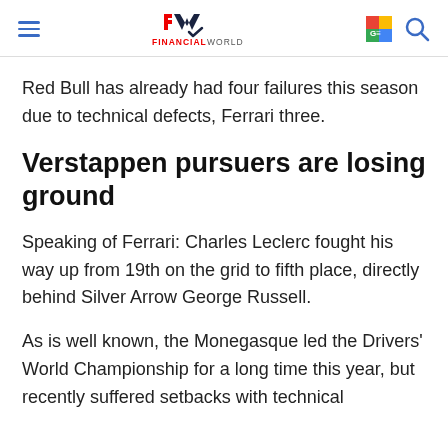FINANCIAL WORLD
Red Bull has already had four failures this season due to technical defects, Ferrari three.
Verstappen pursuers are losing ground
Speaking of Ferrari: Charles Leclerc fought his way up from 19th on the grid to fifth place, directly behind Silver Arrow George Russell.
As is well known, the Monegasque led the Drivers' World Championship for a long time this year, but recently suffered setbacks with technical…